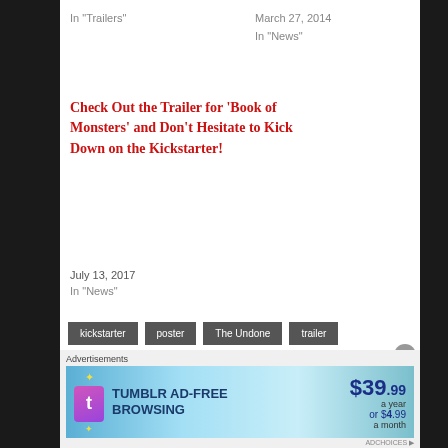In "Trailers"
March 27, 2014
In "News"
Check Out the Trailer for ‘Book of Monsters’ and Don’t Hesitate to Kick Down on the Kickstarter!
July 13, 2017
In "News"
kickstarter
poster
The Undone
trailer
About The Overseer (2283 Articles)
Author of Say No to Drugs, writer for Blumhouse, Dread Central, Horror
Advertisements
[Figure (infographic): Tumblr AD-FREE BROWSING advertisement banner: $39.99 a year or $4.99 a month]